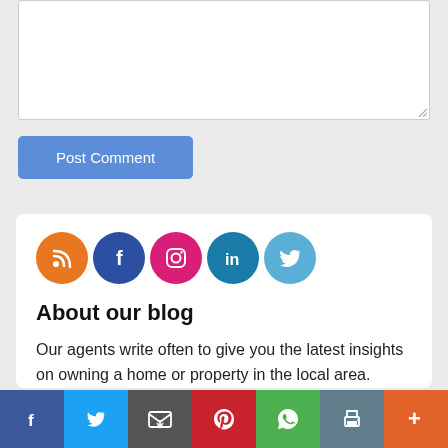[Figure (screenshot): A comment textarea input box with a resize handle in the bottom-right corner]
[Figure (screenshot): A blue 'Post Comment' button]
[Figure (screenshot): Social media icon circles: RSS (orange), Facebook (dark blue), Instagram (pink), LinkedIn (teal), Twitter (light blue)]
About our blog
Our agents write often to give you the latest insights on owning a home or property in the local area.
[Figure (screenshot): Share bar at bottom with icons for Facebook, Twitter, Email, Pinterest, WhatsApp, Print, and More]